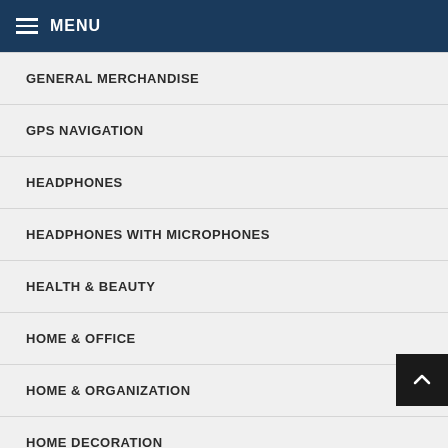MENU
GENERAL MERCHANDISE
GPS NAVIGATION
HEADPHONES
HEADPHONES WITH MICROPHONES
HEALTH & BEAUTY
HOME & OFFICE
HOME & ORGANIZATION
HOME DECORATION
HOME THEATER & CUSTOM INSTALL
HOME THEATER ELECTRONICS